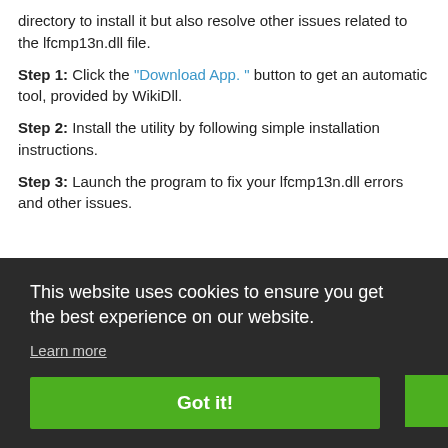directory to install it but also resolve other issues related to the lfcmp13n.dll file.
Step 1: Click the "Download App." button to get an automatic tool, provided by WikiDll.
Step 2: Install the utility by following simple installation instructions.
Step 3: Launch the program to fix your lfcmp13n.dll errors and other issues.
This website uses cookies to ensure you get the best experience on our website.
Learn more
Got it!
See more information about Outbyte and uninstall instructions. Please review Outbyte EULA and Privacy policy.